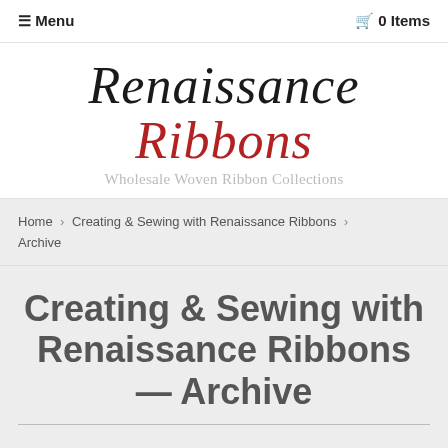☰ Menu   🛒 0 Items
[Figure (logo): Renaissance Ribbons logo in cursive italic font with 'Renaissance' in dark/black and 'Ribbons' in red, with subtitle 'Wholesale Woven Ribbon Collections' in light gray below]
Home › Creating & Sewing with Renaissance Ribbons › Archive
Creating & Sewing with Renaissance Ribbons – Archive